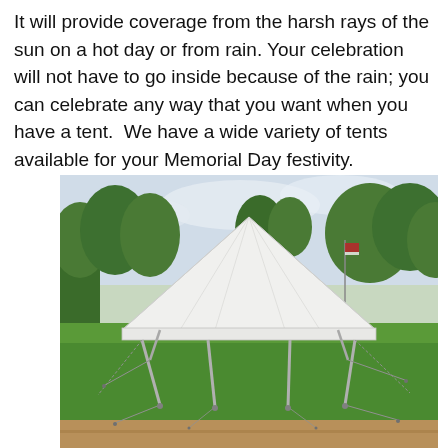It will provide coverage from the harsh rays of the sun on a hot day or from rain. Your celebration will not have to go inside because of the rain; you can celebrate any way that you want when you have a tent.  We have a wide variety of tents available for your Memorial Day festivity.
[Figure (photo): A large white frame tent erected on a grassy area in a park setting, with trees and a brick building visible in the background. The tent has a high peaked center and multiple metal pole legs with guy wires staked to the ground.]